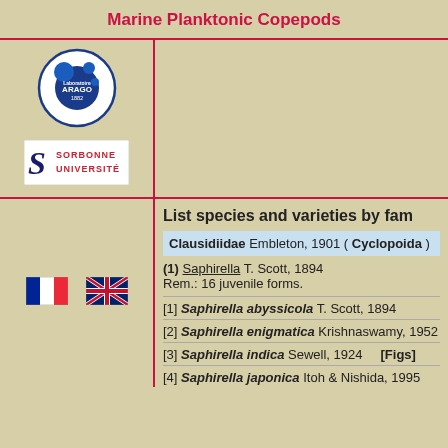Marine Planktonic Copepods
[Figure (logo): Laboratoire ARAGO 1882 circular logo with blue circles]
[Figure (logo): Sorbonne Université logo in black and red]
[Figure (illustration): French flag (tricolor: blue, white, red)]
[Figure (illustration): UK flag (Union Jack)]
List species and varieties by fam
Clausidiidae Embleton, 1901 ( Cyclopoida )
(1) Saphirella T. Scott, 1894
Rem.: 16 juvenile forms.
[1] Saphirella abyssicola  T. Scott, 1894
[2] Saphirella enigmatica  Krishnaswamy, 1952
[3] Saphirella indica  Sewell, 1924   [Figs]
[4] Saphirella japonica  Itoh & Nishida, 1995